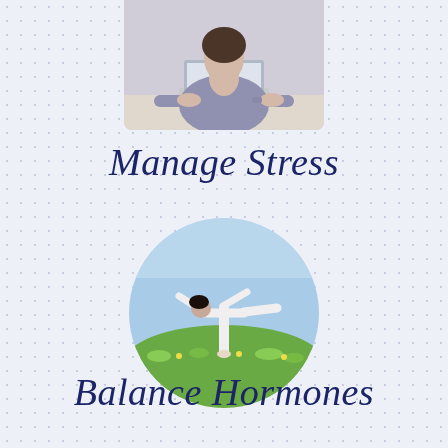[Figure (photo): Cropped photo of a woman in a grey/purple top sitting at a desk with a laptop, arms resting on the desk, viewed from mid-torso up.]
Manage Stress
[Figure (photo): Circular cropped photo of a woman in white clothing doing a yoga balance pose (warrior III) in a green meadow with a blue sky background.]
Balance Hormones